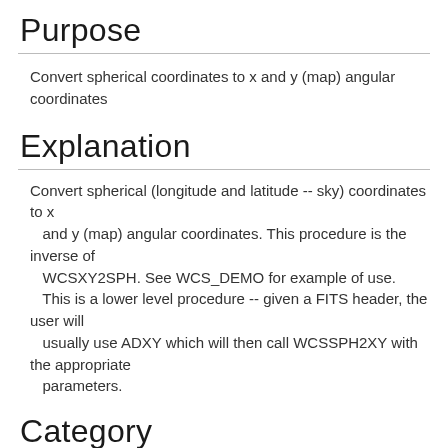Purpose
Convert spherical coordinates to x and y (map) angular coordinates
Explanation
Convert spherical (longitude and latitude -- sky) coordinates to x and y (map) angular coordinates. This procedure is the inverse of WCSXY2SPH. See WCS_DEMO for example of use.
    This is a lower level procedure -- given a FITS header, the user will usually use ADXY which will then call WCSSPH2XY with the appropriate parameters.
Category
Mapping and Auxiliary FITS Routine
Calling Sequence